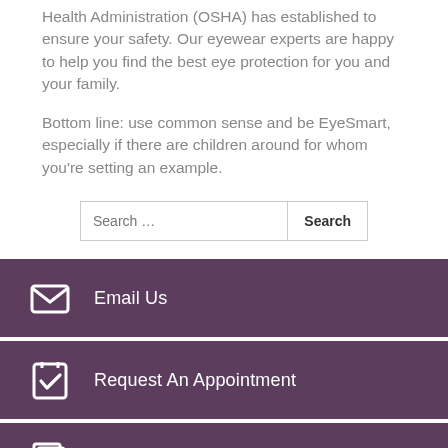Health Administration (OSHA) has established to ensure your safety. Our eyewear experts are happy to help you find the best eye protection for you and your family.
Bottom line: use common sense and be EyeSmart, especially if there are children around for whom you're setting an example.
Search …
Email Us
Request An Appointment
New Patient Forms
Patient Satisfaction Survey